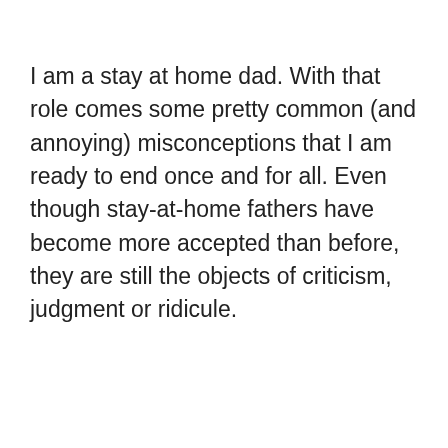I am a stay at home dad. With that role comes some pretty common (and annoying) misconceptions that I am ready to end once and for all. Even though stay-at-home fathers have become more accepted than before, they are still the objects of criticism, judgment or ridicule.